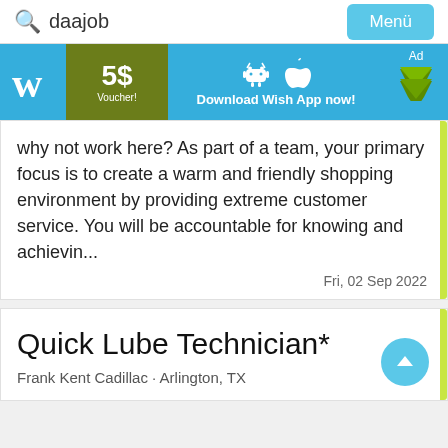daajob  Menü
[Figure (infographic): Wish app advertisement banner: 'w' logo, 5$ Voucher!, Download Wish App now! with Android and Apple icons, Ad chevron badge]
why not work here? As part of a team, your primary focus is to create a warm and friendly shopping environment by providing extreme customer service. You will be accountable for knowing and achievin...
Fri, 02 Sep 2022
Quick Lube Technician*
Frank Kent Cadillac · Arlington, TX